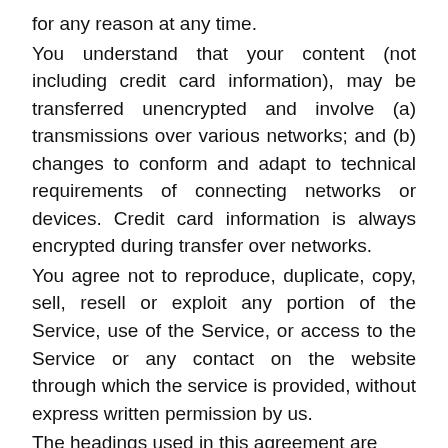for any reason at any time.
You understand that your content (not including credit card information), may be transferred unencrypted and involve (a) transmissions over various networks; and (b) changes to conform and adapt to technical requirements of connecting networks or devices. Credit card information is always encrypted during transfer over networks.
You agree not to reproduce, duplicate, copy, sell, resell or exploit any portion of the Service, use of the Service, or access to the Service or any contact on the website through which the service is provided, without express written permission by us.
The headings used in this agreement are